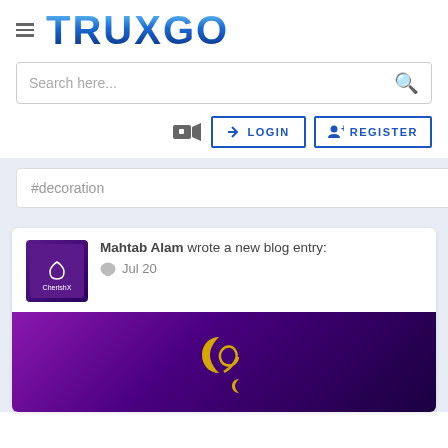[Figure (logo): TRUXGO logo with hamburger menu icon]
Search here...
LOGIN
REGISTER
#decoration
Mahtab Alam wrote a new blog entry:
Jul 20
[Figure (illustration): Purple gradient background with golden crescent moon and decorative calligraphy symbol]